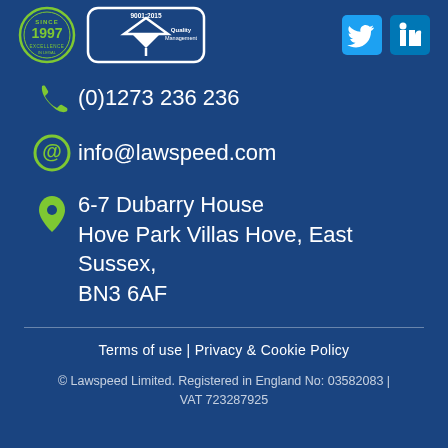[Figure (logo): Since 1997 circular badge logo]
[Figure (logo): ISO 9001:2015 Quality Management certification badge]
[Figure (logo): Twitter social media icon]
[Figure (logo): LinkedIn social media icon]
(0)1273 236 236
info@lawspeed.com
6-7 Dubarry House
Hove Park Villas Hove, East Sussex,
BN3 6AF
Terms of use | Privacy & Cookie Policy
© Lawspeed Limited. Registered in England No: 03582083 | VAT 723287925